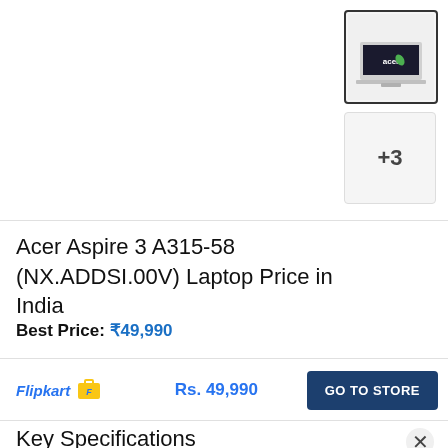[Figure (photo): Acer laptop thumbnail image (main, selected with dark border) showing Acer Aspire 3 laptop with Acer logo on screen]
[Figure (other): Secondary thumbnail showing +3 more images indicator]
Acer Aspire 3 A315-58 (NX.ADDSI.00V) Laptop Price in India
Best Price: ₹49,990
Flipkart  Rs. 49,990  GO TO STORE
Key Specifications